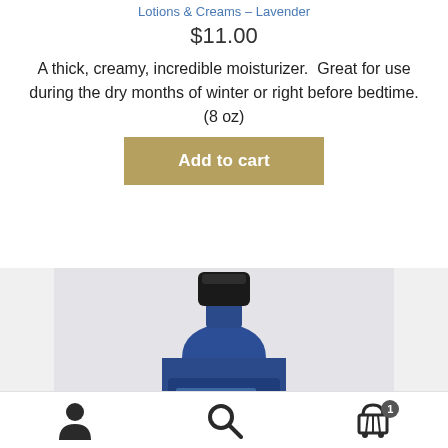Lotions & Creams – Lavender
$11.00
A thick, creamy, incredible moisturizer.  Great for use during the dry months of winter or right before bedtime. (8 oz)
[Figure (photo): Blue lavender lotion bottle with black cap, shown against a light gray background]
Navigation icons: user account, search, cart (1 item)